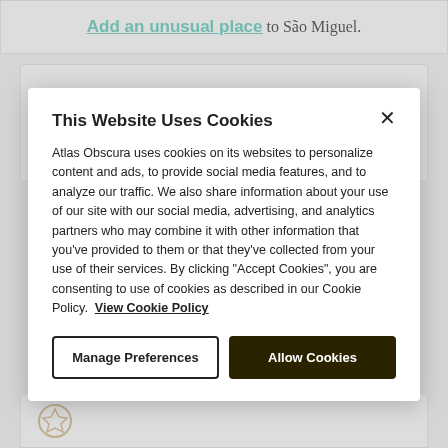Add an unusual place to São Miguel.
Places Edited
This Website Uses Cookies
Atlas Obscura uses cookies on its websites to personalize content and ads, to provide social media features, and to analyze our traffic. We also share information about your use of our site with our social media, advertising, and analytics partners who may combine it with other information that you've provided to them or that they've collected from your use of their services. By clicking "Accept Cookies", you are consenting to use of cookies as described in our Cookie Policy. View Cookie Policy
Manage Preferences
Allow Cookies